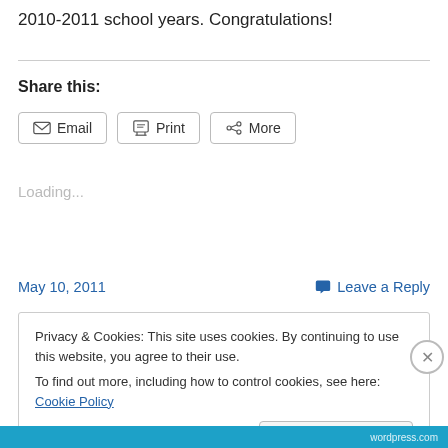2010-2011 school years. Congratulations!
Share this:
Loading...
May 10, 2011
Leave a Reply
Privacy & Cookies: This site uses cookies. By continuing to use this website, you agree to their use.
To find out more, including how to control cookies, see here: Cookie Policy